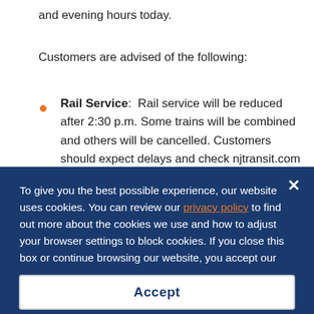and evening hours today.
Customers are advised of the following:
Rail Service: Rail service will be reduced after 2:30 p.m. Some trains will be combined and others will be cancelled. Customers should expect delays and check njtransit.com before traveling. Customers who transfer at Secaucus
To give you the best possible experience, our website uses cookies. You can review our privacy policy to find out more about the cookies we use and how to adjust your browser settings to block cookies. If you close this box or continue browsing our website, you accept our use of cookies.
Accept